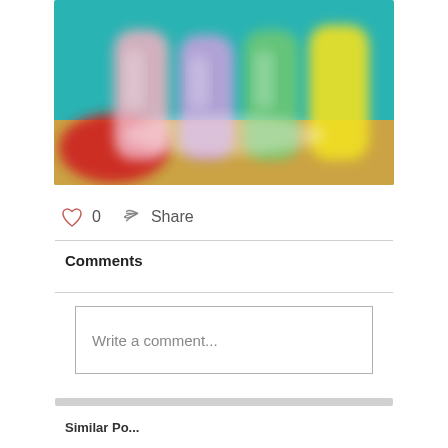[Figure (photo): Blurred colorful juice/drink bottles with teal background - pink, purple, green, and yellow bottles visible with red and orange elements at the base]
0
Share
Comments
Write a comment...